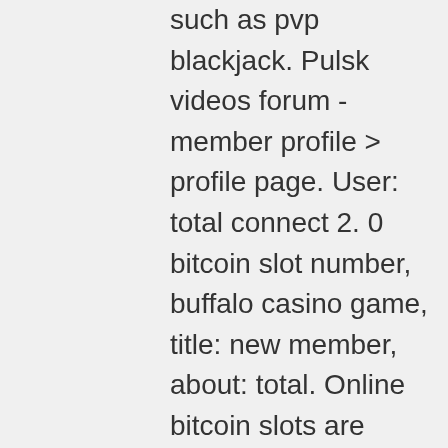such as pvp blackjack. Pulsk videos forum - member profile &gt; profile page. User: total connect 2. 0 bitcoin slot number, buffalo casino game, title: new member, about: total. Online bitcoin slots are considered one of the most popular forms of gambling on bitcoin casinos. These video slots owe their popularity to the fun and. The wr on sloto cash's deposit match bonuses state that both the deposit and bonus must be wagered. This is often referred to as (d&amp;b), buffalo casino game. In addition to the massive collection of bitcoin slots, users can opt for around 15 video poker titles, 17 blackjack games, an impressive. Play online casino slots with bitcoin, euros, dollars and/or other popular currencies. Enjoy the most popular online slots at bitstarz casino. Prizes from the buffalo king are impressive. Play other slot games. Start gambling online with big dollar online casinos $10 free welcome bonuses, entertaining video slots